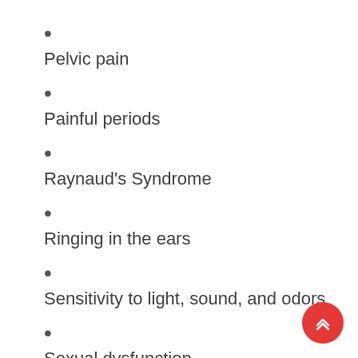Pelvic pain
Painful periods
Raynaud's Syndrome
Ringing in the ears
Sensitivity to light, sound, and odors
Sexual dysfunction